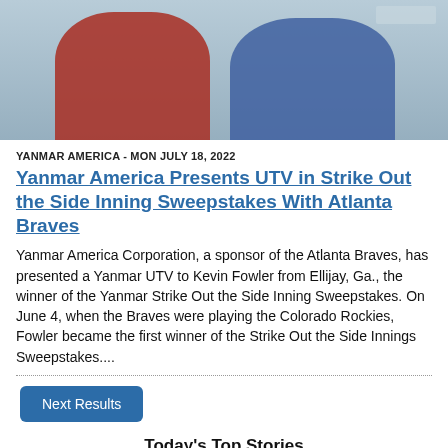[Figure (photo): Two people standing together, one in a red t-shirt and one in a blue sleeveless shirt, outdoors at what appears to be a sports venue.]
YANMAR AMERICA - MON JULY 18, 2022
Yanmar America Presents UTV in Strike Out the Side Inning Sweepstakes With Atlanta Braves
Yanmar America Corporation, a sponsor of the Atlanta Braves, has presented a Yanmar UTV to Kevin Fowler from Ellijay, Ga., the winner of the Yanmar Strike Out the Side Inning Sweepstakes. On June 4, when the Braves were playing the Colorado Rockies, Fowler became the first winner of the Strike Out the Side Innings Sweepstakes....
Next Results
Today's Top Stories